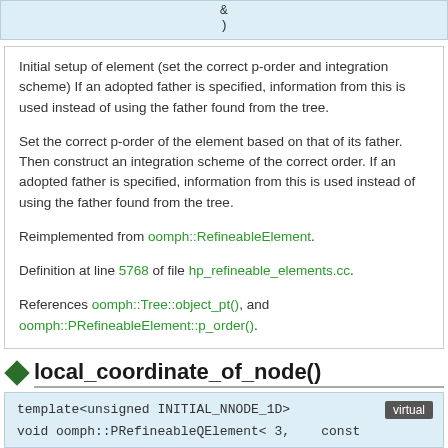&
)
Initial setup of element (set the correct p-order and integration scheme) If an adopted father is specified, information from this is used instead of using the father found from the tree.

Set the correct p-order of the element based on that of its father. Then construct an integration scheme of the correct order. If an adopted father is specified, information from this is used instead of using the father found from the tree.

Reimplemented from oomph::RefineableElement.

Definition at line 5768 of file hp_refineable_elements.cc.

References oomph::Tree::object_pt(), and oomph::PRefineableElement::p_order().
local_coordinate_of_node()
template<unsigned INITIAL_NNODE_1D>
void oomph::PRefineableQElement< 3,    const